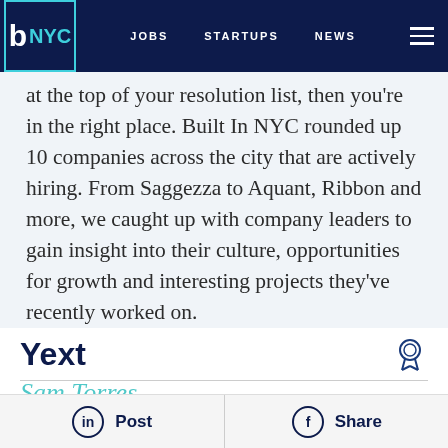b NYC  JOBS  STARTUPS  NEWS
at the top of your resolution list, then you're in the right place. Built In NYC rounded up 10 companies across the city that are actively hiring. From Saggezza to Aquant, Ribbon and more, we caught up with company leaders to gain insight into their culture, opportunities for growth and interesting projects they've recently worked on.
Yext
Sam Torres
Post  Share